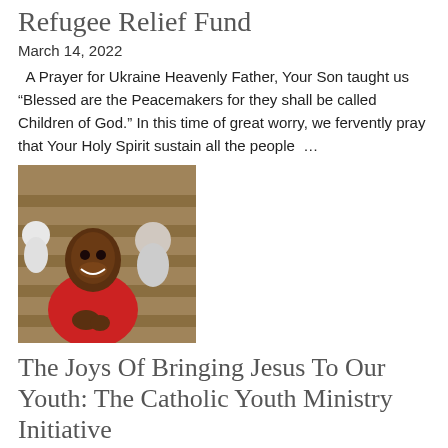Refugee Relief Fund
March 14, 2022
A Prayer for Ukraine Heavenly Father, Your Son taught us “Blessed are the Peacemakers for they shall be called Children of God.” In this time of great worry, we fervently pray that Your Holy Spirit sustain all the people …
[Figure (photo): A smiling young woman in a red hoodie seated in church pews, with other people in the background.]
The Joys Of Bringing Jesus To Our Youth: The Catholic Youth Ministry Initiative
September 2, 2021
By Monsignor Jaime Gigantiello Elaine Tontoh